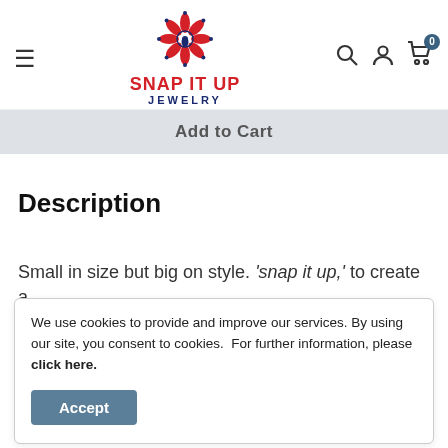Snap It Up Jewelry — navigation header with hamburger menu, logo, search, account, and cart icons
Add to Cart
Description
Small in size but big on style. 'snap it up,' to create a look that's unique to you. 12mm Snaps only work with
We use cookies to provide and improve our services. By using our site, you consent to cookies.  For further information, please click here.
Accept